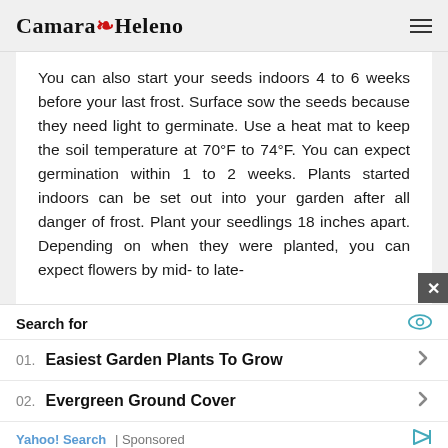Camara Heleno
You can also start your seeds indoors 4 to 6 weeks before your last frost. Surface sow the seeds because they need light to germinate. Use a heat mat to keep the soil temperature at 70°F to 74°F. You can expect germination within 1 to 2 weeks. Plants started indoors can be set out into your garden after all danger of frost. Plant your seedlings 18 inches apart. Depending on when they were planted, you can expect flowers by mid- to late-
Search for
01. Easiest Garden Plants To Grow
02. Evergreen Ground Cover
Yahoo! Search | Sponsored